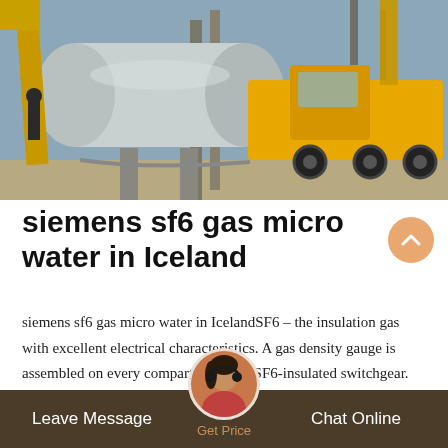[Figure (photo): Industrial scene showing large gray cylindrical pipe/equipment being installed, with a yellow truck crane on the right and yellow construction crane arm on the left, at what appears to be an electrical substation site.]
siemens sf6 gas micro water in Iceland
siemens sf6 gas micro water in IcelandSF6 – the insulation gas with excellent electrical characteristics. A gas density gauge is assembled on every compartment of a SF6-insulated switchgear. This gauge measures pressure at 20&C reference for each gas compartment in a constant manner, with a hermetically sealed sensor. If a high-voltage prod SF6-insulation inside, the gas